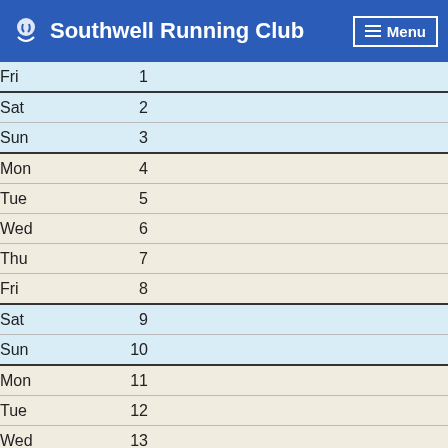Southwell Running Club  Menu
| Day | Date | Event |
| --- | --- | --- |
| Fri | 1 |  |
| Sat | 2 |  |
| Sun | 3 |  |
| Mon | 4 |  |
| Tue | 5 |  |
| Wed | 6 |  |
| Thu | 7 |  |
| Fri | 8 |  |
| Sat | 9 |  |
| Sun | 10 |  |
| Mon | 11 |  |
| Tue | 12 |  |
| Wed | 13 |  |
| Thu | 14 |  |
| Fri | 15 |  |
| Sat | 16 | 1.50pm  North Midlands XC : Markeaton Park, Derby. Women's 6k starts at 13.50 Men's 10k |
f  [twitter]  in  Women's 6k starts at 13.50 Men's 10k